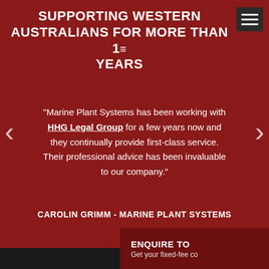SUPPORTING WESTERN AUSTRALIANS FOR MORE THAN 1E YEARS
"Marine Plant Systems has been working with HHG Legal Group for a few years now and they continually provide first-class service. Their professional advice has been invaluable to our company."
CAROLIN GRIMM - MARINE PLANT SYSTEMS
ENQUIRE TO
Get your fixed-fee co